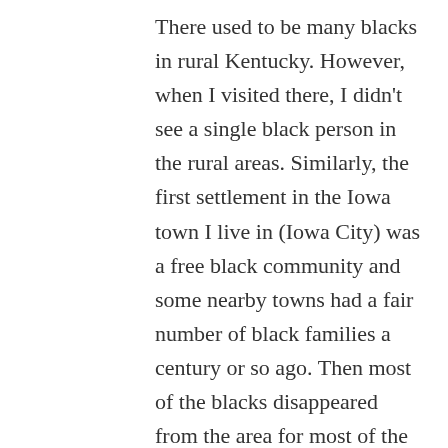There used to be many blacks in rural Kentucky. However, when I visited there, I didn't see a single black person in the rural areas. Similarly, the first settlement in the Iowa town I live in (Iowa City) was a free black community and some nearby towns had a fair number of black families a century or so ago. Then most of the blacks disappeared from the area for most of the 20th century, until recent years when they've begun to return.
In the rural Deep South, there aren't many sundown towns. People forget